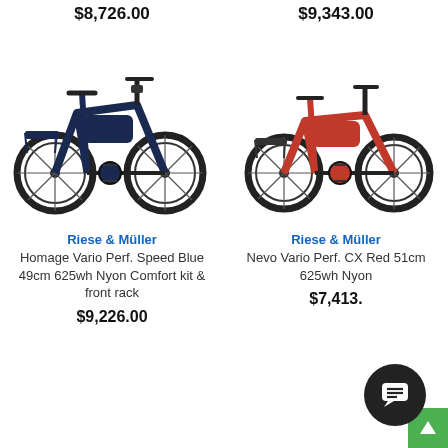$8,726.00
$9,343.00
[Figure (photo): Riese & Müller Homage Vario Perf. Speed Blue e-bike, dark blue, step-through frame, side view]
[Figure (photo): Riese & Müller Nevo Vario Perf. CX Red e-bike, red, step-through frame, side view]
Riese & Müller
Homage Vario Perf. Speed Blue 49cm 625wh Nyon Comfort kit & front rack
$9,226.00
Riese & Müller
Nevo Vario Perf. CX Red 51cm 625wh Nyon
$7,413.